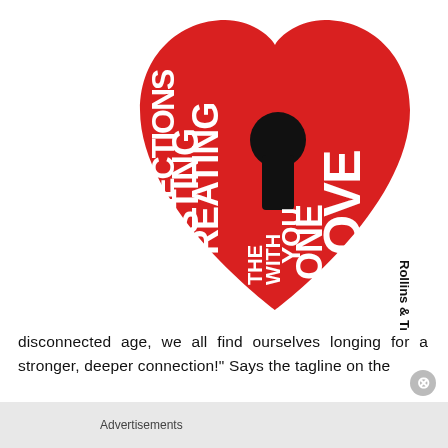[Figure (illustration): Book cover for 'Creating Lasting Connections with the One You Love' by Rollins & Trammell. Red heart shape with a black keyhole in the center. White bold text arranged vertically and diagonally reading 'CREATING LASTING CONNECTIONS WITH THE ONE YOU LOVE'. Author name 'Rollins & Trammell' appears vertically on the right side.]
disconnected age, we all find ourselves longing for a stronger, deeper connection!" Says the tagline on the
Advertisements